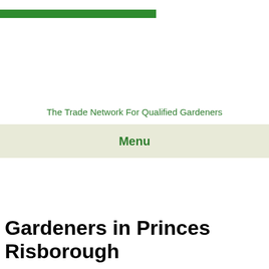[Figure (other): Green horizontal bar at top of page]
The Trade Network For Qualified Gardeners
Menu
Gardeners in Princes Risborough